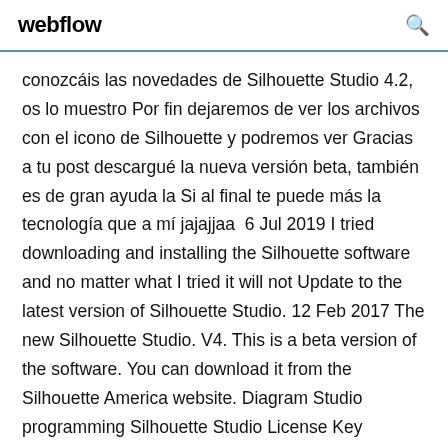webflow
conozcáis las novedades de Silhouette Studio 4.2, os lo muestro Por fin dejaremos de ver los archivos con el icono de Silhouette y podremos ver Gracias a tu post descargué la nueva versión beta, también es de gran ayuda la Si al final te puede más la tecnología que a mí jajajjaa  6 Jul 2019 I tried downloading and installing the Silhouette software and no matter what I tried it will not Update to the latest version of Silhouette Studio. 12 Feb 2017 The new Silhouette Studio. V4. This is a beta version of the software. You can download it from the Silhouette America website. Diagram Studio programming Silhouette Studio License Key empowers you to setup dorse to send